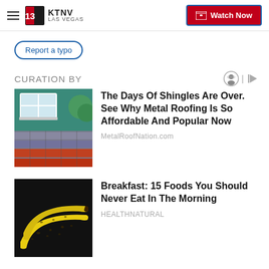KTNV LAS VEGAS | Watch Now
Report a typo
CURATION BY
[Figure (photo): Metal roofing samples displayed outside a house with teal siding]
The Days Of Shingles Are Over. See Why Metal Roofing Is So Affordable And Popular Now
MetalRoofNation.com
[Figure (photo): Two ripe yellow bananas with brown spots on a dark background]
Breakfast: 15 Foods You Should Never Eat In The Morning
HEALTHNATURAL